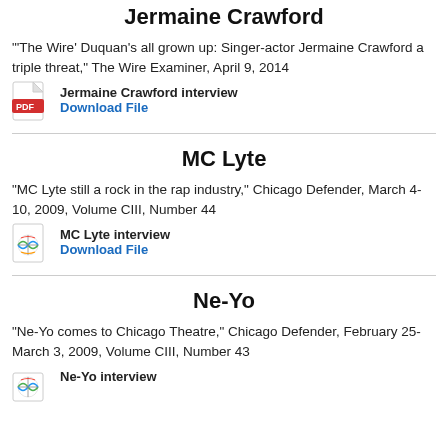Jermaine Crawford
'"The Wire' Duquan's all grown up: Singer-actor Jermaine Crawford a triple threat," The Wire Examiner, April 9, 2014
[Figure (illustration): PDF file icon (red Adobe PDF icon)]
Jermaine Crawford interview
Download File
MC Lyte
"MC Lyte still a rock in the rap industry," Chicago Defender, March 4-10, 2009, Volume CIII, Number 44
[Figure (illustration): Globe/web file icon]
MC Lyte interview
Download File
Ne-Yo
"Ne-Yo comes to Chicago Theatre," Chicago Defender, February 25-March 3, 2009, Volume CIII, Number 43
[Figure (illustration): Globe/web file icon (partially visible)]
Ne-Yo interview